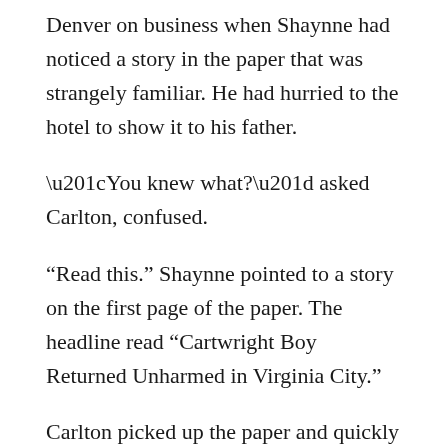Denver on business when Shaynne had noticed a story in the paper that was strangely familiar. He had hurried to the hotel to show it to his father.
“You knew what?” asked Carlton, confused.
“Read this.” Shaynne pointed to a story on the first page of the paper. The headline read “Cartwright Boy Returned Unharmed in Virginia City.”
Carlton picked up the paper and quickly scanned the article. He gasped in surprise.
“You WERE right!” he exclaimed. “Damn those Breckenridge boys!”
“Not only the boys, Pa.”